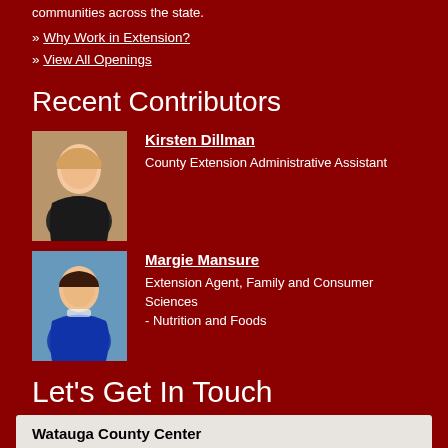communities across the state.
» Why Work in Extension?
» View All Openings
Recent Contributors
Kirsten Dillman
County Extension Administrative Assistant
Margie Mansure
Extension Agent, Family and Consumer Sciences - Nutrition and Foods
Let's Get In Touch
Watauga County Center
STREET ADDRESS:
MAILING ADDRESS: